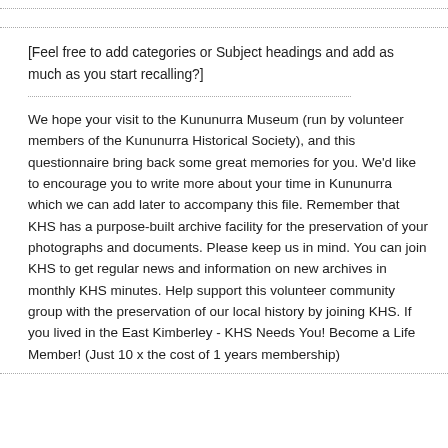...........................................................................................................
...........................................................................................................
[Feel free to add categories or Subject headings and add as much as you start recalling?]
..........................................................................
We hope your visit to the Kununurra Museum (run by volunteer members of the Kununurra Historical Society), and this questionnaire bring back some great memories for you. We'd like to encourage you to write more about your time in Kununurra which we can add later to accompany this file. Remember that KHS has a purpose-built archive facility for the preservation of your photographs and documents. Please keep us in mind. You can join KHS to get regular news and information on new archives in monthly KHS minutes. Help support this volunteer community group with the preservation of our local history by joining KHS. If you lived in the East Kimberley - KHS Needs You! Become a Life Member! (Just 10 x the cost of 1 years membership)
...........................................................................................................